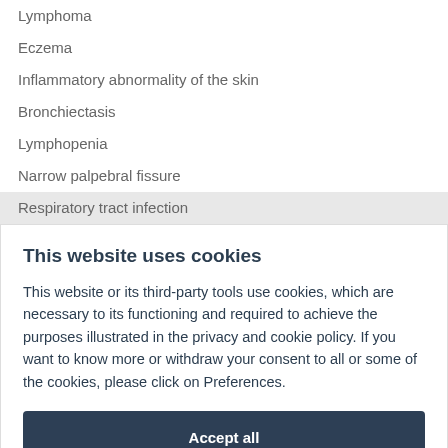Lymphoma
Eczema
Inflammatory abnormality of the skin
Bronchiectasis
Lymphopenia
Narrow palpebral fissure
Respiratory tract infection
This website uses cookies
This website or its third-party tools use cookies, which are necessary to its functioning and required to achieve the purposes illustrated in the privacy and cookie policy. If you want to know more or withdraw your consent to all or some of the cookies, please click on Preferences.
Accept all
Preferences